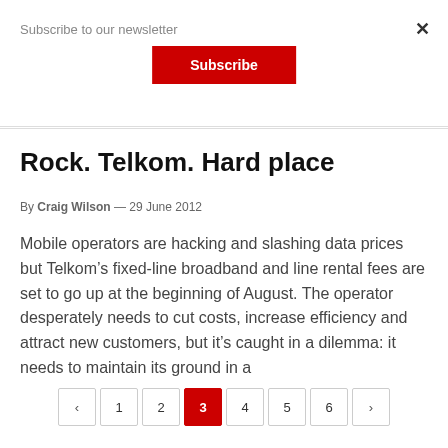Subscribe to our newsletter
Subscribe
×
Rock. Telkom. Hard place
By Craig Wilson — 29 June 2012
Mobile operators are hacking and slashing data prices but Telkom's fixed-line broadband and line rental fees are set to go up at the beginning of August. The operator desperately needs to cut costs, increase efficiency and attract new customers, but it's caught in a dilemma: it needs to maintain its ground in a
‹ 1 2 3 4 5 6 ›